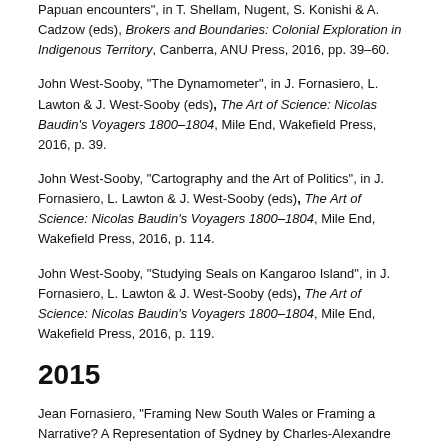Papuan encounters", in T. Shellam, Nugent, S. Konishi & A. Cadzow (eds), Brokers and Boundaries: Colonial Exploration in Indigenous Territory, Canberra, ANU Press, 2016, pp. 39-60.
John West-Sooby, "The Dynamometer", in J. Fornasiero, L. Lawton & J. West-Sooby (eds), The Art of Science: Nicolas Baudin's Voyagers 1800-1804, Mile End, Wakefield Press, 2016, p. 39.
John West-Sooby, "Cartography and the Art of Politics", in J. Fornasiero, L. Lawton & J. West-Sooby (eds), The Art of Science: Nicolas Baudin's Voyagers 1800-1804, Mile End, Wakefield Press, 2016, p. 114.
John West-Sooby, "Studying Seals on Kangaroo Island", in J. Fornasiero, L. Lawton & J. West-Sooby (eds), The Art of Science: Nicolas Baudin's Voyagers 1800-1804, Mile End, Wakefield Press, 2016, p. 119.
2015
Jean Fornasiero, "Framing New South Wales or Framing a Narrative? A Representation of Sydney by Charles-Alexandre Lesueur", in N. Edwards, B. McCann & P. Poiana (eds), Framing French Culture, Adelaide, Adelaide University Press, 2015, pp. 81-102.
Jean Fornasiero & John West-Sooby, "Cross-cultural Inquiry in 1802: Musical Performance on the Baudin Expedition to Australia", in K. Darian-Smith & P. Edmonds (eds), Conciliation on Colonial Frontiers: Conflict, Performance, and Commemoration in Australia and the Pacific Rim, New York/Abingdon, UK,